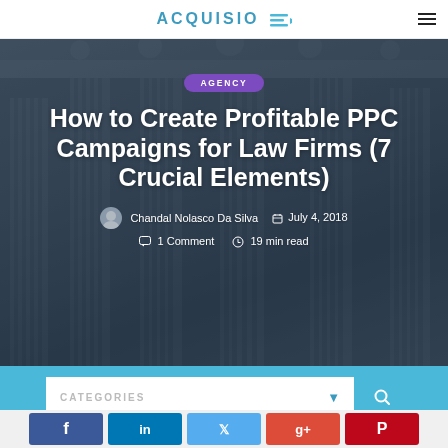ACQUISIO
[Figure (photo): Upward angle photo of a classical courthouse or government building with large stone columns and classical sculptures on the roofline, overlaid with a dark blue-gray tint.]
AGENCY
How to Create Profitable PPC Campaigns for Law Firms (7 Crucial Elements)
Chandal Nolasco Da Silva   July 4, 2018
1 Comment   19 min read
CATEGORIES
[Figure (screenshot): Social share buttons row showing Facebook, LinkedIn, Twitter, Google+, and Pinterest icons at the bottom of the page.]